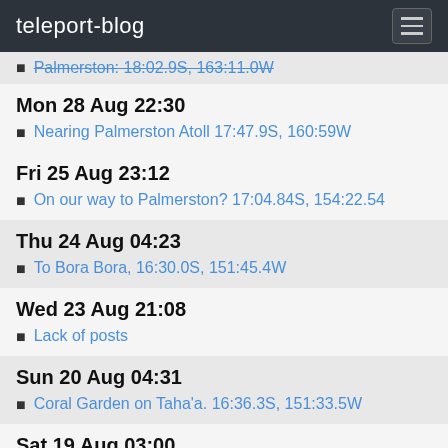teleport-blog
Palmerston: 18:02.9S, 163:11.0W
Mon 28 Aug 22:30
Nearing Palmerston Atoll 17:47.9S, 160:59W
Fri 25 Aug 23:12
On our way to Palmerston? 17:04.84S, 154:22.54
Thu 24 Aug 04:23
To Bora Bora, 16:30.0S, 151:45.4W
Wed 23 Aug 21:08
Lack of posts
Sun 20 Aug 04:31
Coral Garden on Taha'a. 16:36.3S, 151:33.5W
Sat 19 Aug 03:00
Huahine and on to Raiatea 16:41.1S, 151:26.9W
Tue 15 Aug 17:30
Opunohu Bay Moorea, and on to Huahine,16:43.0S, 151:02.3W
Thu 10 Aug 21:09